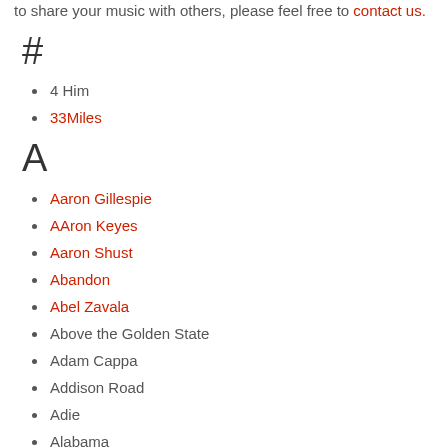to share your music with others, please feel free to contact us.
#
4 Him
33Miles
A
Aaron Gillespie
AAron Keyes
Aaron Shust
Abandon
Abel Zavala
Above the Golden State
Adam Cappa
Addison Road
Adie
Alabama